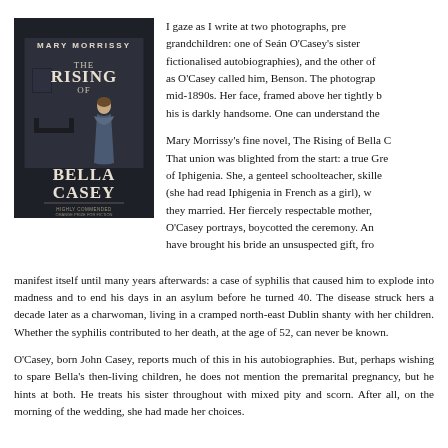[Figure (illustration): Book cover of 'The Rising of Bella Casey' by Mary Morrissy, showing a woman in Victorian dress standing in a dimly lit room]
I gaze as I write at two photographs, presented to me by one of their grandchildren: one of Seán O'Casey's sister (who appears in his fictionalised autobiographies), and the other of Nicholas Beaver, or, as O'Casey called him, Benson. The photographs were taken in the mid-1890s. Her face, framed above her tightly buttoned collar, and his is darkly handsome. One can understand the...
Mary Morrissy's fine novel, The Rising of Bella Casey, explores that union. That union was blighted from the start: a true Greek tragedy with the figure of Iphigenia. She, a genteel schoolteacher, skilled in languages (she had read Iphigenia in French as a girl), was pregnant when they married. Her fiercely respectable mother, as O'Casey portrays, boycotted the ceremony. And Benson seems to have brought his bride an unsuspected gift, from which it would not manifest itself until many years afterwards: a case of syphilis that caused him to explode into madness and to end his days in an asylum before he turned 40. The disease struck hers a decade later as a charwoman, living in a cramped north-east Dublin shanty with her children. Whether the syphilis contributed to her death, at the age of 52, can never be known.
O'Casey, born John Casey, reports much of this in his autobiographies. But, perhaps wishing to spare Bella's then-living children, he does not mention the premarital pregnancy, but he hints at both. He treats his sister throughout with mixed pity and scorn. After all, on the morning of the wedding, she had made her choices.